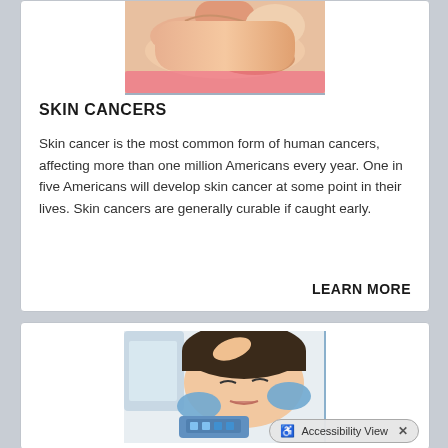[Figure (photo): Close-up photo of hands touching/examining skin, partial view at top of card]
SKIN CANCERS
Skin cancer is the most common form of human cancers, affecting more than one million Americans every year. One in five Americans will develop skin cancer at some point in their lives. Skin cancers are generally curable if caught early.
LEARN MORE
[Figure (photo): Photo of a woman lying down receiving a skin treatment, medical professional applying a device to her face with blue gloves]
Accessibility View